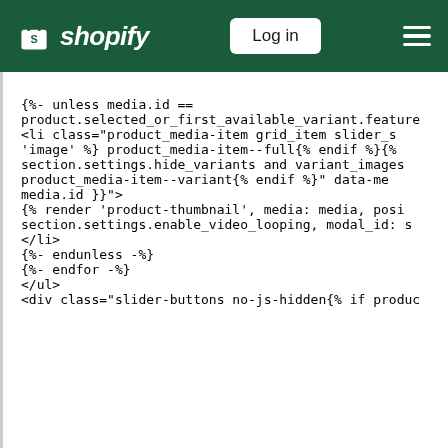shopify — Log in — menu
{%- unless media.id == product.selected_or_first_available_variant.featured_<li class="product_media-item grid_item slider_s 'image' %} product_media-item--full{% endif %}{%  section.settings.hide_variants and variant_images  product_media-item--variant{% endif %}" data-me media.id }}"> {% render 'product-thumbnail', media: media, posi section.settings.enable_video_looping, modal_id: s </li> {%- endunless -%} {%- endfor -%} </ul> <div class="slider-buttons no-js-hidden{% if produc